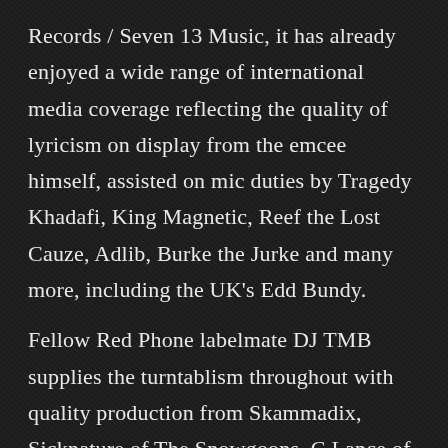Records / Seven 13 Music, it has already enjoyed a wide range of international media coverage reflecting the quality of lyricism on display from the emcee himself, assisted on mic duties by Tragedy Khadafi, King Magnetic, Reef the Lost Cauze, Adlib, Burke the Jurke and many more, including the UK's Edd Bundy.
Fellow Red Phone labelmate DJ TMB supplies the turntablism throughout with quality production from Skammadix, Sicknature of The Snowgoons, C Lance of Jedi Mind Tricks, Vanderslice, Nemesis, Engineer, Sultan Mir and Hellzwind